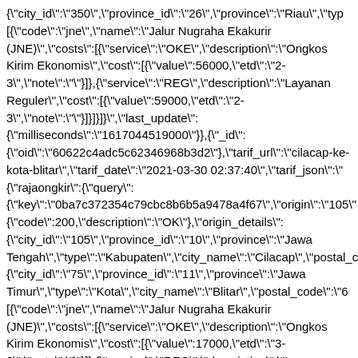{"city_id":"350","province_id":"26","province":"Riau","ty [{"code":"jne","name":"Jalur Nugraha Ekakurir (JNE)","costs":[{"service":"OKE","description":"Ongkos Kirim Ekonomis","cost":[{"value":56000,"etd":"2-3","note":""}]},{"service":"REG","description":"Layanan Reguler","cost":[{"value":59000,"etd":"2-3","note":""}]}]}]}","last_update": {"milliseconds":"1617044519000"}},{"_id": {"oid":"60622c4adc5c62346968b3d2"},"tarif_url":"cilacap-ke-kota-blitar","tarif_date":"2021-03-30 02:37:40","tarif_json":"{"rajaongkir":{"query": {"key":"0ba7c372354c79cbc8b6b5a9478a4f67","origin":"105" {"code":200,"description":"OK"},"origin_details": {"city_id":"105","province_id":"10","province":"Jawa Tengah","type":"Kabupaten","city_name":"Cilacap","postal_c {"city_id":"75","province_id":"11","province":"Jawa Timur","type":"Kota","city_name":"Blitar","postal_code":"6 [{"code":"jne","name":"Jalur Nugraha Ekakurir (JNE)","costs":[{"service":"OKE","description":"Ongkos Kirim Ekonomis","cost":[{"value":17000,"etd":"3-6","note":""}]},{"service":"REG","description":"Layanan Reguler","cost":[{"value":21000,"etd":"2-3","note":""}]}]}]}","last_update": {"milliseconds":"1617046602000"}},{"_id": {"oid":"606233cbb9c6654f6969d553"},"tarif_url":"palembang-ke-